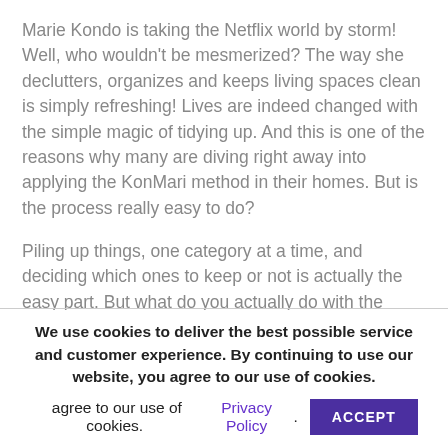Marie Kondo is taking the Netflix world by storm! Well, who wouldn't be mesmerized? The way she declutters, organizes and keeps living spaces clean is simply refreshing! Lives are indeed changed with the simple magic of tidying up. And this is one of the reasons why many are diving right away into applying the KonMari method in their homes. But is the process really easy to do?
Piling up things, one category at a time, and deciding which ones to keep or not is actually the easy part. But what do you actually do with the things that you've decided not to keep? What are the practical ways that you can implement to help you get rid of the things that no longer spark joy?
We use cookies to deliver the best possible service and customer experience. By continuing to use our website, you agree to our use of cookies. Privacy Policy. ACCEPT